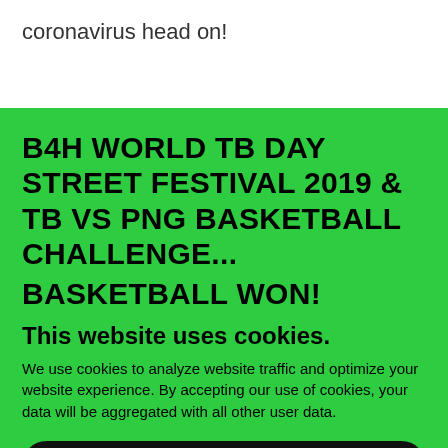coronavirus head on!
B4H WORLD TB DAY STREET FESTIVAL 2019 & TB VS PNG BASKETBALL CHALLENGE... BASKETBALL WON!
This website uses cookies.
We use cookies to analyze website traffic and optimize your website experience. By accepting our use of cookies, your data will be aggregated with all other user data.
ACCEPT